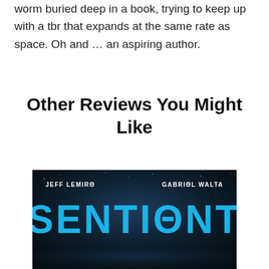worm buried deep in a book, trying to keep up with a tbr that expands at the same rate as space. Oh and … an aspiring author.
Other Reviews You Might Like
[Figure (illustration): Book cover of 'Sentient' by Jeff Lemire and Gabriel Walta. Dark space background with stars. Authors' names in white uppercase at top. The title 'SENTIENT' in large mirrored/distorted cyan/blue letters in the center. Bottom portion appears to show a character.]